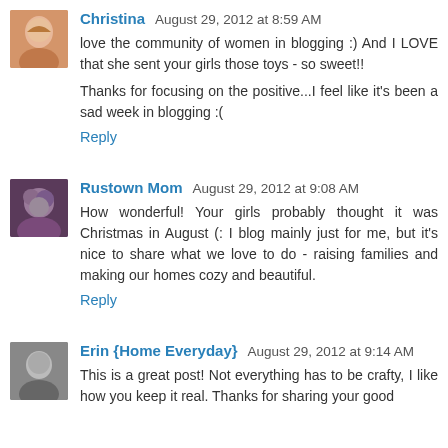Christina  August 29, 2012 at 8:59 AM
love the community of women in blogging :) And I LOVE that she sent your girls those toys - so sweet!!
Thanks for focusing on the positive...I feel like it's been a sad week in blogging :(
Reply
Rustown Mom  August 29, 2012 at 9:08 AM
How wonderful! Your girls probably thought it was Christmas in August (: I blog mainly just for me, but it's nice to share what we love to do - raising families and making our homes cozy and beautiful.
Reply
Erin {Home Everyday}  August 29, 2012 at 9:14 AM
This is a great post! Not everything has to be crafty, I like how you keep it real. Thanks for sharing your good